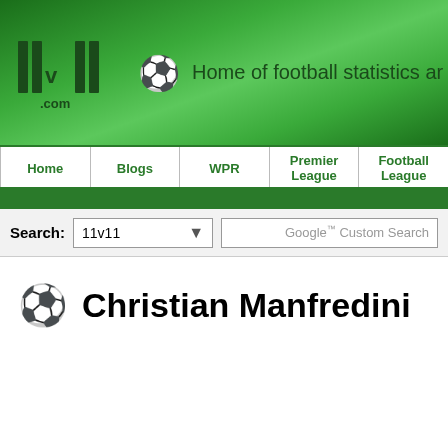11v11.com — Home of football statistics ar...
[Figure (screenshot): Navigation bar with Home, Blogs, WPR, Premier League, Football League menu items]
[Figure (screenshot): Search bar with 11v11 dropdown and Google Custom Search input]
Christian Manfredini